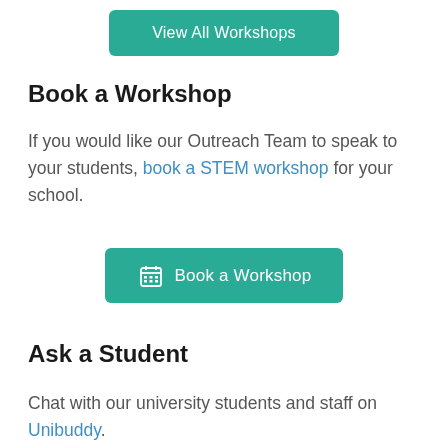[Figure (other): Teal button labeled 'View All Workshops']
Book a Workshop
If you would like our Outreach Team to speak to your students, book a STEM workshop for your school.
[Figure (other): Teal button with calendar icon labeled 'Book a Workshop']
Ask a Student
Chat with our university students and staff on Unibuddy.